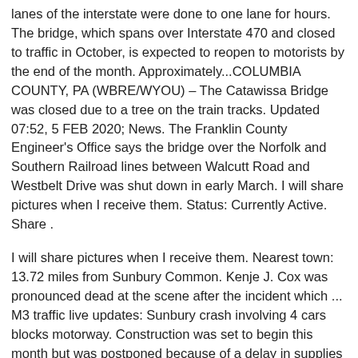lanes of the interstate were done to one lane for hours. The bridge, which spans over Interstate 470 and closed to traffic in October, is expected to reopen to motorists by the end of the month. Approximately...COLUMBIA COUNTY, PA (WBRE/WYOU) – The Catawissa Bridge was closed due to a tree on the train tracks. Updated 07:52, 5 FEB 2020; News. The Franklin County Engineer's Office says the bridge over the Norfolk and Southern Railroad lines between Walcutt Road and Westbelt Drive was shut down in early March. I will share pictures when I receive them. Status: Currently Active. Share .
I will share pictures when I receive them. Nearest town: 13.72 miles from Sunbury Common. Kenje J. Cox was pronounced dead at the scene after the incident which ... M3 traffic live updates: Sunbury crash involving 4 cars blocks motorway. Construction was set to begin this month but was postponed because of a delay in supplies due to the COVID-19 coronavirus pandemic, said Franklin County bridge-design engineer Edwin Herrick.POWELL — Work is expected to begin on the Sawmill Parkway resurfacing project Monday, June 22, weather permitting. The renovated bridge features a new shared-use